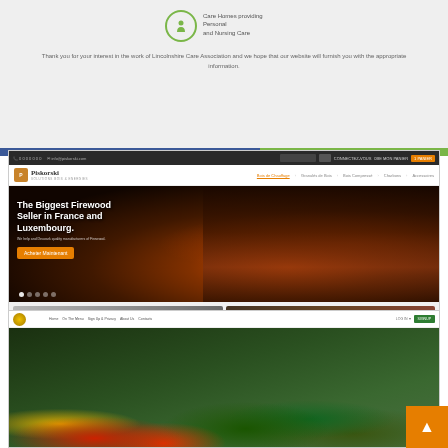[Figure (screenshot): Lincolnshire Care Association website - top section with Care Homes icon and thank you message, with blue and green navigation bar]
Thank you for your interest in the work of Lincolnshire Care Association and we hope that our website will furnish you with the appropriate information.
[Figure (screenshot): Piskorski firewood seller website screenshot showing: navigation bar, logo, hero image of fireplace with text 'The Biggest Firewood Seller in France and Luxembourg.', Livraison and Tips cards, Les produits en vedette section]
The Biggest Firewood Seller in France and Luxembourg.
Acheter Maintenant
Livraison
Tips
Les produits en vedette
[Figure (screenshot): Organic food website screenshot showing header with logo and navigation menu including Home, On The Menu, Sign Up & Privacy, About Us, Contacts, with vegetable hero image]